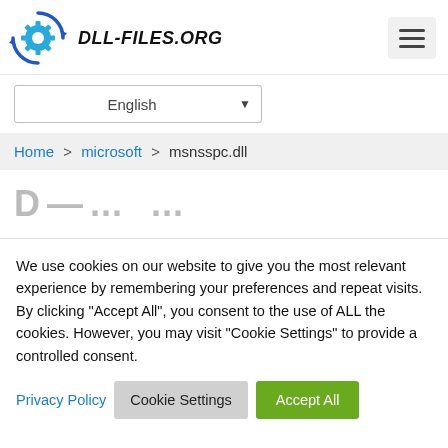[Figure (logo): DLL-FILES.ORG logo with gear icon and circular arrows]
English ▼
Home > microsoft > msnsspc.dll
We use cookies on our website to give you the most relevant experience by remembering your preferences and repeat visits. By clicking "Accept All", you consent to the use of ALL the cookies. However, you may visit "Cookie Settings" to provide a controlled consent.
Privacy Policy   Cookie Settings   Accept All